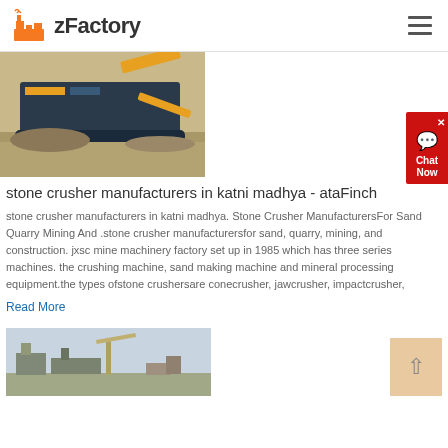zFactory
[Figure (photo): Industrial stone crusher machine operating outdoors on gravel/stone ground]
stone crusher manufacturers in katni madhya - ataFinch
stone crusher manufacturers in katni madhya. Stone Crusher ManufacturersFor Sand Quarry Mining And .stone crusher manufacturersfor sand, quarry, mining, and construction. jxsc mine machinery factory set up in 1985 which has three series machines. the crushing machine, sand making machine and mineral processing equipment.the types ofstone crushersare conecrusher, jawcrusher, impactcrusher,
Read More
[Figure (photo): Industrial quarry or mining facility with large machinery and structures]